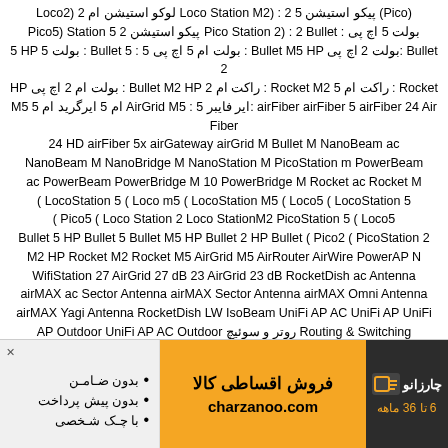Loco2) لوکو استیشن ام 2 Loco Station M2) : 2 پیکو استیشن 5 (Pico2) Pico Station 2) : 2 پیکو استیشن Pico5) Station 5 بولت 5 اچ پی : Bullet 5 HP بولت ام 5 اچ پی : Bullet M5 HP بولت 2 اچ پی: Bullet 2 HP بولت ام 2 اچ پی : Bullet M2 HP راکت ام 2 : Rocket M2 راکت ام 5 : Rocket M5 ام 5 ایرگرید ام 5 AirGrid M5 : 5 ایر فایبر: airFiber airFiber 5 airFiber 24 Air Fiber 24 HD airFiber 5x airGateway airGrid M Bullet M NanoBeam ac NanoBeam M NanoBridge M NanoStation M PicoStation m PowerBeam ac PowerBeam PowerBridge M 10 PowerBridge M Rocket ac Rocket M ( LocoStation 5 ( Loco m5 ( LocoStation M5 ( Loco5 ( LocoStation 5 ( Pico5 ( Loco Station 2 Loco StationM2 PicoStation 5 ( Loco5 Bullet 5 HP Bullet 5 Bullet M5 HP Bullet 2 HP Bullet ( Pico2 ( PicoStation 2 M2 HP Rocket M2 Rocket M5 AirGrid M5 AirRouter AirWire PowerAP N WifiStation 27 AirGrid 27 dB 23 AirGrid 23 dB RocketDish ac Antenna airMAX ac Sector Antenna airMAX Sector Antenna airMAX Omni Antenna airMAX Yagi Antenna RocketDish LW IsoBeam UniFi AP AC UniFi AP UniFi AP Outdoor UniFi AP AC Outdoor روتر و سوئیچ Routing & Switching EdgeRouter X EdgeRouter X SFP EdgeRouter Lite EdgeRouter PoE EdgeRouter EdgeRouter PRO EdgeSwitch ووِیپ VoIP UniFi VoIP Phone UniFi VoIP Phone Executive Control & Automation mPort InWall Outlet ولت and Switch Accessories SR71-A SR71-15 XR5 XR2 XR3 XR9 UB5 24
[Figure (infographic): Advertisement banner for charzanoo.com installment shopping. Left panel: gray background with bullets 'بدون ضامن', 'بدون پیش پرداخت', 'با چک شخصی' and X close button. Middle panel: orange background with 'فروش اقساطی کالا' and 'charzanoo.com'. Right panel: dark background with Charzanoo logo and '6 تا 36 ماهه'.]